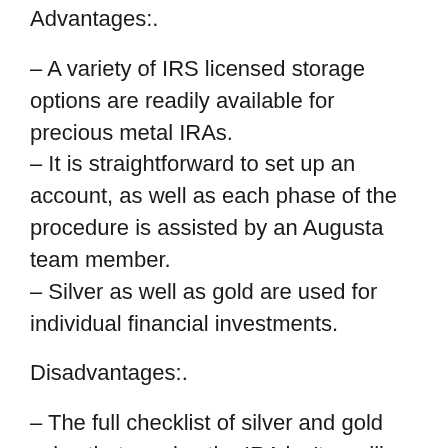Advantages:.
– A variety of IRS licensed storage options are readily available for precious metal IRAs.
– It is straightforward to set up an account, as well as each phase of the procedure is assisted by an Augusta team member.
– Silver as well as gold are used for individual financial investments.
Disadvantages:.
– The full checklist of silver and gold coins that receive the IRA isn't readily accessible.
Augusta Priceless Metals has made its credibility as a leading gold IRA business that provides silver and also gold investments. It